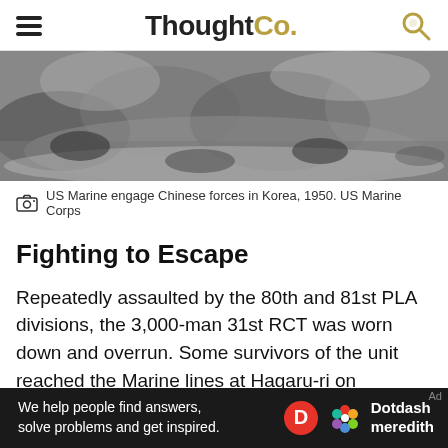ThoughtCo.
[Figure (photo): Black and white photograph of US Marines engaging Chinese forces in Korea, 1950, showing rocky terrain and soldiers in combat.]
US Marine engage Chinese forces in Korea, 1950. US Marine Corps
Fighting to Escape
Repeatedly assaulted by the 80th and 81st PLA divisions, the 3,000-man 31st RCT was worn down and overrun. Some survivors of the unit reached the Marine lines at Hagaru-ri on December 2. Holding his position at Hagaru-ri, Smith ordered the 5th and 7th Marines to abandon the area around Yudam-ni and link up with the rest of the division. Fighting a brutal
[Figure (infographic): Dotdash Meredith advertisement bar: 'We help people find answers, solve problems and get inspired.']